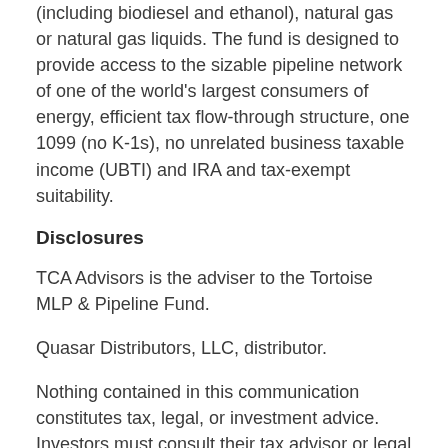(including biodiesel and ethanol), natural gas or natural gas liquids. The fund is designed to provide access to the sizable pipeline network of one of the world's largest consumers of energy, efficient tax flow-through structure, one 1099 (no K-1s), no unrelated business taxable income (UBTI) and IRA and tax-exempt suitability.
Disclosures
TCA Advisors is the adviser to the Tortoise MLP & Pipeline Fund.
Quasar Distributors, LLC, distributor.
Nothing contained in this communication constitutes tax, legal, or investment advice. Investors must consult their tax advisor or legal counsel for advice and information concerning their particular situation. Distributions are not augranteed. Please consult the